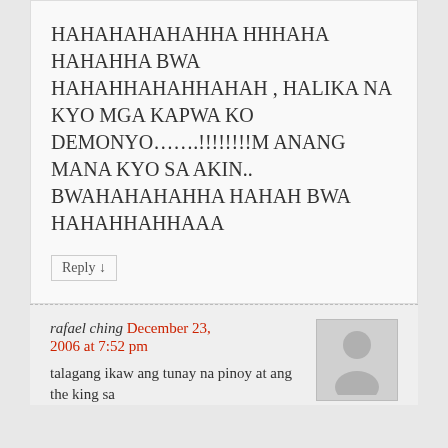HAHAHAHAHAHHA HHHAHA HAHAHHA BWA HAHAHHAHAHHAHAH , HALIKA NA KYO MGA KAPWA KO DEMONYO…….!!!!!!!!MANANG MANA KYO SA AKIN.. BWAHAHAHAHHA HAHAH BWA HAHAHHAHHAAA
Reply ↓
rafael ching December 23, 2006 at 7:52 pm
talagang ikaw ang tunay na pinoy at ang the king sa